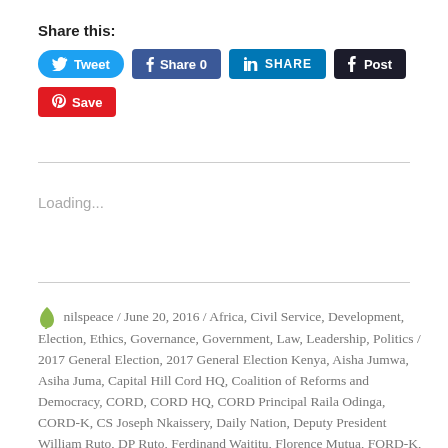Share this:
Tweet | Share 0 | SHARE | Post | Save
Loading...
nilspeace / June 20, 2016 / Africa, Civil Service, Development, Election, Ethics, Governance, Government, Law, Leadership, Politics / 2017 General Election, 2017 General Election Kenya, Aisha Jumwa, Asiha Juma, Capital Hill Cord HQ, Coalition of Reforms and Democracy, CORD, CORD HQ, CORD Principal Raila Odinga, CORD-K, CS Joseph Nkaissery, Daily Nation, Deputy President William Ruto, DP Ruto, Ferdinand Waititu, Florence Mutua, FORD-K, Forum for